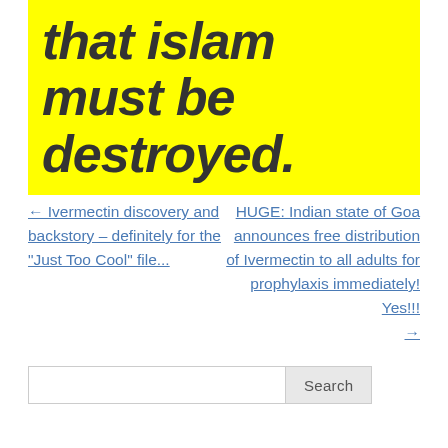[Figure (other): Yellow banner image with bold italic dark gray text reading 'that islam must be destroyed.']
← Ivermectin discovery and backstory – definitely for the "Just Too Cool" file...
HUGE: Indian state of Goa announces free distribution of Ivermectin to all adults for prophylaxis immediately! Yes!!! →